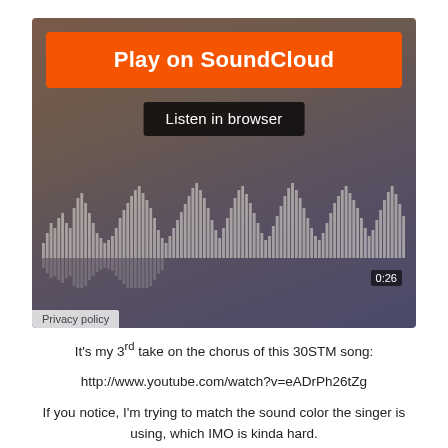[Figure (screenshot): SoundCloud embedded player widget with orange 'Play on SoundCloud' button, 'Listen in browser' dark button, audio waveform visualization, timestamp '0:26', and privacy policy link at bottom left.]
It's my 3rd take on the chorus of this 30STM song:
http://www.youtube.com/watch?v=eADrPh26tZg
If you notice, I'm trying to match the sound color the singer is using, which IMO is kinda hard.
1. Backing off the volume works below the bridge for me, but above F#4/G4 I can't get the same amount of power, which is what I'm trying to achieve. If you can give me any tips on singing